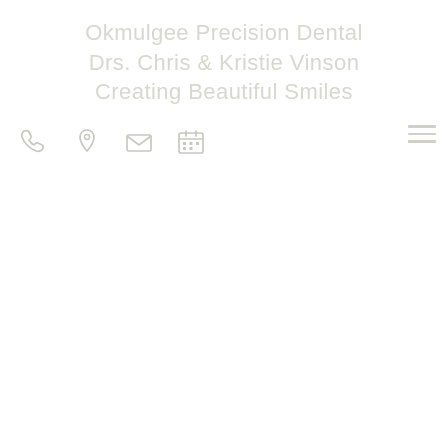Okmulgee Precision Dental
Drs. Chris & Kristie Vinson
Creating Beautiful Smiles
[Figure (infographic): Navigation icon bar with phone icon, location pin icon, email/envelope icon, calendar icon on the left, and a hamburger menu icon on the right. All icons are rendered in light gray.]